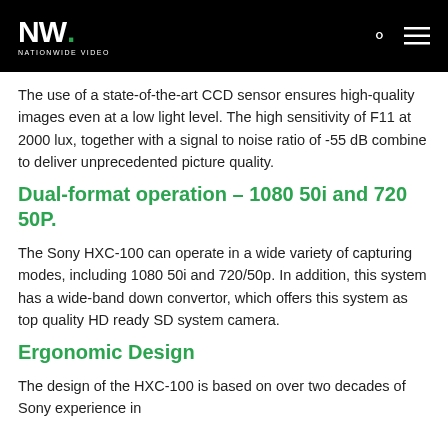NW. NATIONWIDE VIDEO
The use of a state-of-the-art CCD sensor ensures high-quality images even at a low light level. The high sensitivity of F11 at 2000 lux, together with a signal to noise ratio of -55 dB combine to deliver unprecedented picture quality.
Dual-format operation – 1080 50i and 720 50P.
The Sony HXC-100 can operate in a wide variety of capturing modes, including 1080 50i and 720/50p. In addition, this system has a wide-band down convertor, which offers this system as top quality HD ready SD system camera.
Ergonomic Design
The design of the HXC-100 is based on over two decades of Sony experience in